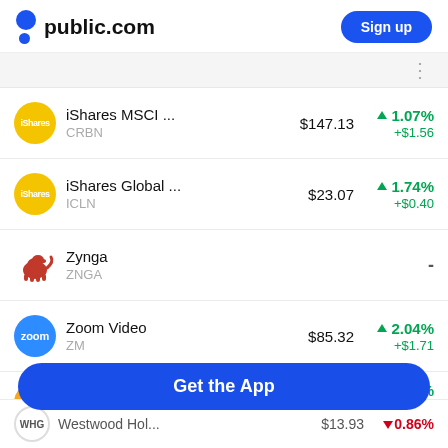public.com | Sign up
| Stock | Ticker | Price | Change % | Change $ |
| --- | --- | --- | --- | --- |
| iShares MSCI ... | CRBN | $147.13 | ▲ 1.07% | +$1.56 |
| iShares Global ... | ICLN | $23.07 | ▲ 1.74% | +$0.40 |
| Zynga | ZNGA |  | - |  |
| Zoom Video | ZM | $85.32 | ▲ 2.04% | +$1.71 |
| Workday | WDAY | $161.00 | ▲ 0.39% | $0.00 |
| Westwood Hol... | WHG | $13.93 | ▼ 0.86% |  |
Get the App